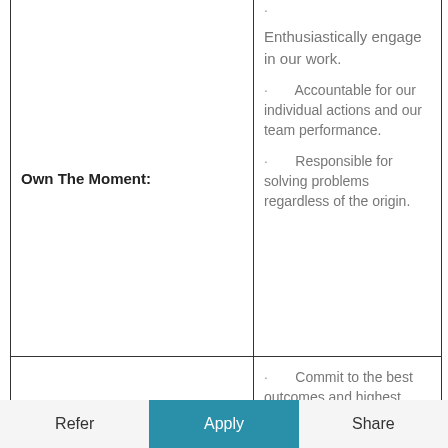| Own The Moment: | Enthusiastically engage in our work.
· Accountable for our individual actions and our team performance.
· Responsible for solving problems regardless of the origin. |
|  | · Commit to the best outcomes and highest quality.
· Have a relentless focus on exceeding |
Refer   Apply   Share